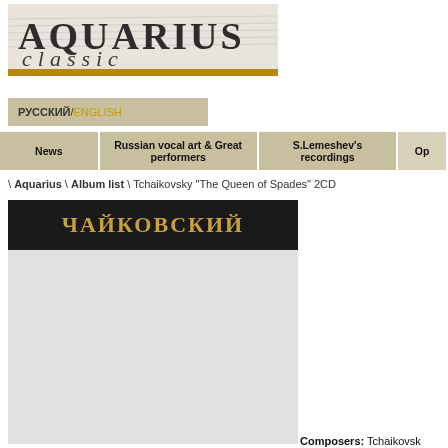[Figure (logo): Aquarius Classic logo with stylized text]
РУССКИЙ / ENGLISH
News | Russian vocal art & Great performers | S.Lemeshev's recordings | Op
\ Aquarius \ Album list \ Tchaikovsky "The Queen of Spades" 2CD
[Figure (photo): Album cover for Tchaikovsky The Queen of Spades 2CD showing Cyrillic text ЧАЙКОВСКИЙ on dark background]
Composers: Tchaikovsk